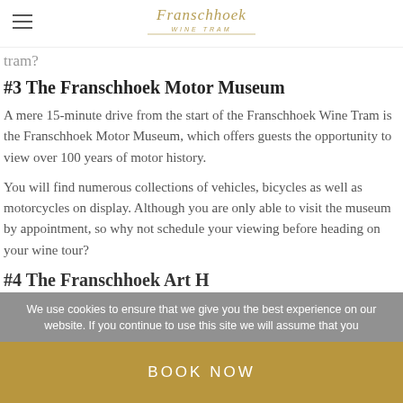Franschhoek Wine Tram
tram?
#3 The Franschhoek Motor Museum
A mere 15-minute drive from the start of the Franschhoek Wine Tram is the Franschhoek Motor Museum, which offers guests the opportunity to view over 100 years of motor history.
You will find numerous collections of vehicles, bicycles as well as motorcycles on display. Although you are only able to visit the museum by appointment, so why not schedule your viewing before heading on your wine tour?
#4 The Franschhoek Art H
We use cookies to ensure that we give you the best experience on our website. If you continue to use this site we will assume that you
BOOK NOW